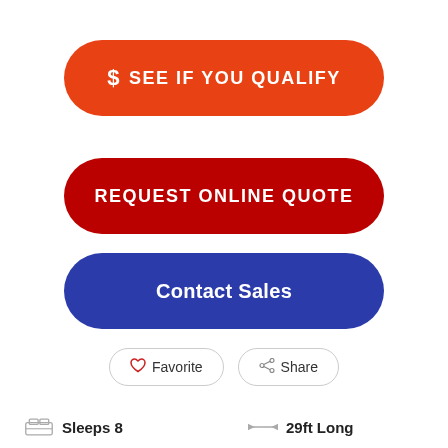$ SEE IF YOU QUALIFY
REQUEST ONLINE QUOTE
Contact Sales
Favorite
Share
Sleeps 8
29ft Long
1 Slides
5,320 lbs